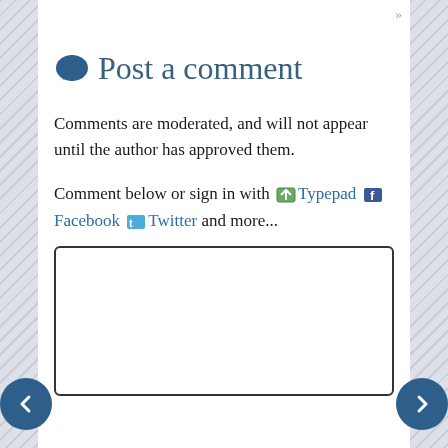Post a comment
Comments are moderated, and will not appear until the author has approved them.
Comment below or sign in with Typepad Facebook Twitter and more...
[Figure (other): Empty comment text input box with rounded border]